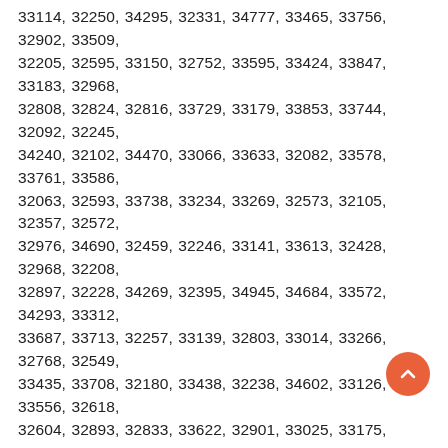33114, 32250, 34295, 32331, 34777, 33465, 33756, 32902, 33509, 32205, 32595, 33150, 32752, 33595, 33424, 33847, 33183, 32968, 32808, 32824, 32816, 33729, 33179, 33853, 33744, 32092, 32245, 34240, 32102, 34470, 33066, 33633, 32082, 33578, 33761, 33586, 32063, 32593, 33738, 33234, 33269, 32573, 32105, 32357, 32572, 32976, 34690, 32459, 32246, 33141, 33613, 32428, 32968, 32208, 32897, 32228, 34269, 32395, 34945, 34684, 33572, 34293, 33312, 33687, 33713, 32257, 33139, 32803, 33014, 33266, 32768, 32549, 33435, 33708, 32180, 33438, 32238, 34602, 33126, 33556, 32618, 32604, 32893, 32833, 33622, 32901, 33025, 33175, 34770, 32347, 33307, 32804, 33403, 33394, 32312, 32633, 32087, 32059, 32216, 32179, 33015, 32120, 33345, 33593, 33574, 34685, 34636, 33016, 32544, 34603, 32434, 32438, 32120, 32940, 32912, 34713, 33875, 33706, 32806, 32905, 33707, 33327, 32406, 33903, 32124, 34610, 33039, 32277, 34480, 32778, 33193, 33322, 34288, 33303, 32258, 33705, 33280, 33158, 32464, 34684, 32203, 32804, 33265, 33938, 33872, 33050, 34450, 32132, 33970, 34609, 32713, 32573, 33320, 32361, 33478, 34113, 32255, 32215, 33614, 33483, 32205, 33071, 33187, 32835, 34228, 33324, 32502, 33020, 33885, 32634, 32259, 32897, 32853, 34973, 33144, 33101, 33686, 33180, 32454, 32290, 33603, 34945, 32140, 33403, 34603, 33256, 32607, 33949, 32683